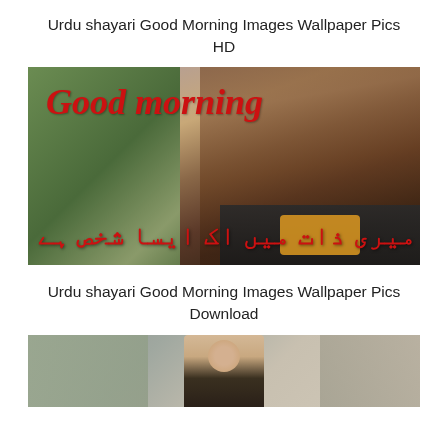Urdu shayari Good Morning Images Wallpaper Pics HD
[Figure (photo): Photo of a young woman with long brown hair looking sideways, with 'Good morning' text in red italic and Urdu script text at the bottom in red]
Urdu shayari Good Morning Images Wallpaper Pics Download
[Figure (photo): Partially visible photo of a person, cropped at bottom of page]